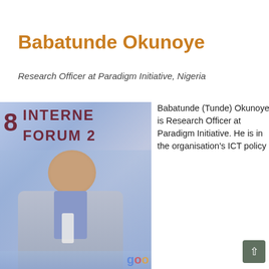Babatunde Okunoye
Research Officer at Paradigm Initiative, Nigeria
[Figure (photo): Photo of Babatunde Okunoye standing in front of an Internet Governance Forum banner, wearing a light grey blazer and blue checked shirt with a conference lanyard. Background is blue/purple with dark red IGF banner text.]
Babatunde (Tunde) Okunoye is Research Officer at Paradigm Initiative. He is in the organisation's ICT policy...